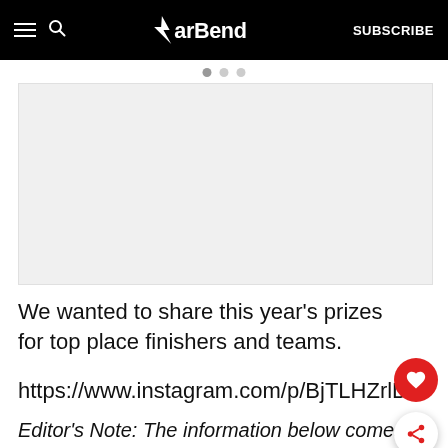BarBend — SUBSCRIBE
[Figure (photo): Light gray image placeholder area in a carousel, with three navigation dots above it]
We wanted to share this year's prizes for top place finishers and teams.
https://www.instagram.com/p/BjTLHZrlD7.
Editor's Note: The information below comes from the 2018 Reebok CrossFit Games season